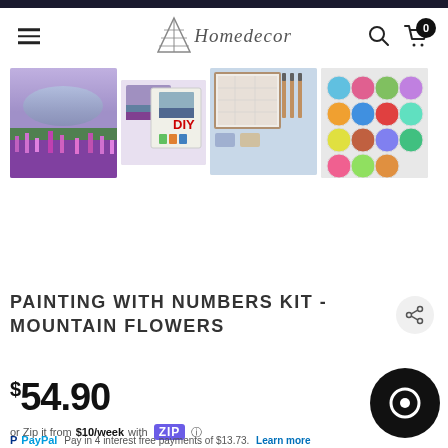Homedecor
[Figure (photo): Product image 1: mountain flower landscape painting]
[Figure (photo): Product image 2: DIY kit box with paints and canvas]
[Figure (photo): Product image 3: numbered canvas with brushes and accessories]
[Figure (photo): Product image 4: paint pots arranged on white surface]
PAINTING WITH NUMBERS KIT - MOUNTAIN FLOWERS
$54.90
or Zip it from $10/week with Zip
Pay in 4 interest free payments of $13.73. Learn more